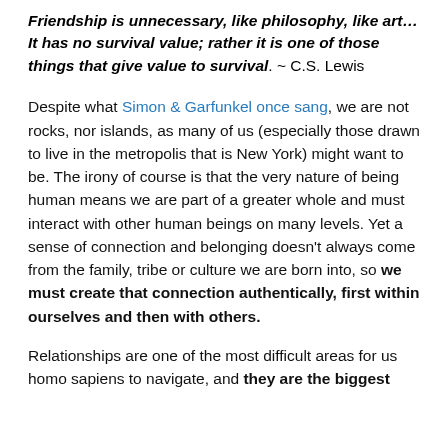Friendship is unnecessary, like philosophy, like art… It has no survival value; rather it is one of those things that give value to survival. ~ C.S. Lewis
Despite what Simon & Garfunkel once sang, we are not rocks, nor islands, as many of us (especially those drawn to live in the metropolis that is New York) might want to be. The irony of course is that the very nature of being human means we are part of a greater whole and must interact with other human beings on many levels. Yet a sense of connection and belonging doesn't always come from the family, tribe or culture we are born into, so we must create that connection authentically, first within ourselves and then with others.
Relationships are one of the most difficult areas for us homo sapiens to navigate, and they are the biggest